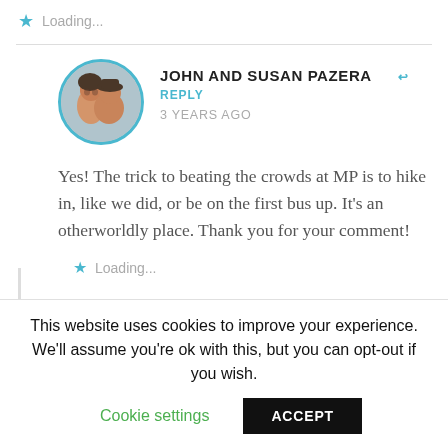Loading...
JOHN AND SUSAN PAZERA  ↩ REPLY
3 YEARS AGO
[Figure (photo): Circular avatar photo of a couple (man and woman) with teal/cyan border]
Yes! The trick to beating the crowds at MP is to hike in, like we did, or be on the first bus up. It's an otherworldly place. Thank you for your comment!
Loading...
This website uses cookies to improve your experience. We'll assume you're ok with this, but you can opt-out if you wish.
Cookie settings
ACCEPT